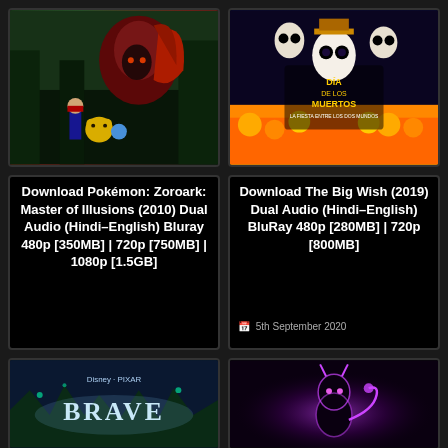[Figure (illustration): Pokemon Zoroark Master of Illusions movie poster showing Zoroark, Ash, Pikachu and other Pokemon characters]
[Figure (illustration): Dia de los Muertos / The Big Wish (2019) movie poster with Day of the Dead themed skull characters and orange marigold flowers]
Download Pokémon: Zoroark: Master of Illusions (2010) Dual Audio (Hindi-English) Bluray 480p [350MB] | 720p [750MB] | 1080p [1.5GB]
Download The Big Wish (2019) Dual Audio (Hindi-English) BluRay 480p [280MB] | 720p [800MB]
5th September 2020
[Figure (illustration): Brave (Disney Pixar) movie poster with dark blue/teal forest background and title text BRAVE]
[Figure (illustration): Mewtwo Pokemon silhouette glowing in purple/pink neon light against dark background]